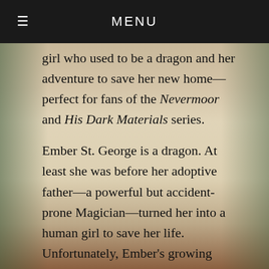≡  MENU
girl who used to be a dragon and her adventure to save her new home—perfect for fans of the Nevermoor and His Dark Materials series.
Ember St. George is a dragon. At least she was before her adoptive father—a powerful but accident-prone Magician—turned her into a human girl to save her life.
Unfortunately, Ember's growing tendency to burst into flames at certain temperatures—not to mention her